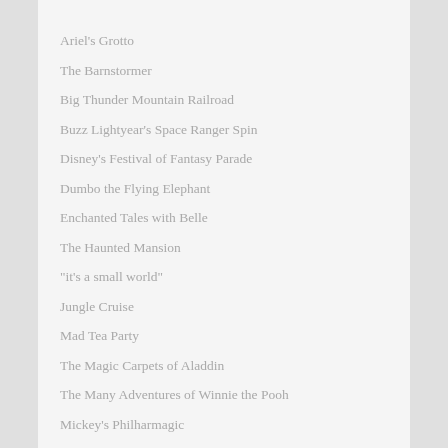Ariel's Grotto
The Barnstormer
Big Thunder Mountain Railroad
Buzz Lightyear's Space Ranger Spin
Disney's Festival of Fantasy Parade
Dumbo the Flying Elephant
Enchanted Tales with Belle
The Haunted Mansion
"it's a small world"
Jungle Cruise
Mad Tea Party
The Magic Carpets of Aladdin
The Many Adventures of Winnie the Pooh
Mickey's Philharmagic
Monsters Inc Laugh Floor
Peter Pan's Flight
Pirates of the Caribbean
Princess Fairytale Hall (Two Options available- One for